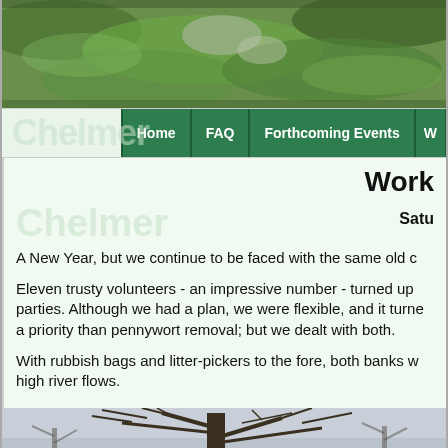[Figure (photo): Top banner photo of a grassy hillside or mossy rocky area, green vegetation close-up]
Home | FAQ | Forthcoming Events |
Work
Satu
A New Year, but we continue to be faced with the same old c
Eleven trusty volunteers - an impressive number - turned up parties. Although we had a plan, we were flexible, and it turne a priority than pennywort removal; but we dealt with both.
With rubbish bags and litter-pickers to the fore, both banks w high river flows.
[Figure (photo): Bottom photo of bare winter trees against a grey sky]